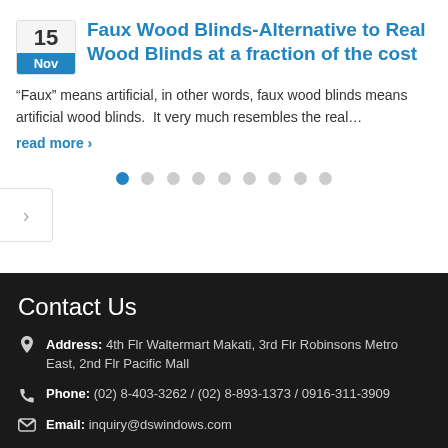Faux Wood Blinds-Alternative to Real Wood Blinds at a fraction of the cost
“Faux” means artificial, in other words, faux wood blinds means artificial wood blinds.  It very much resembles the real…
read more ›
[Figure (other): Pagination dots row with 9 dots, first one active (blue), rest gray; plus a right arrow navigation button]
Contact Us
Address: 4th Flr Waltermart Makati, 3rd Flr Robinsons Metro East, 2nd Flr Pacific Mall
Phone: (02) 8-403-3262 / (02) 8-893-1373 / 0916-311-3909
Email: inquiry@dswindows.com